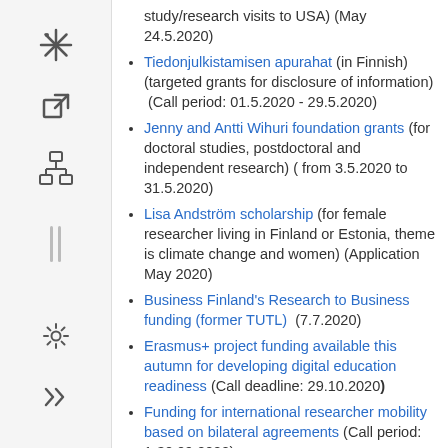study/research visits to USA) (May 24.5.2020)
Tiedonjulkistamisen apurahat (in Finnish) (targeted grants for disclosure of information) (Call period: 01.5.2020 - 29.5.2020)
Jenny and Antti Wihuri foundation grants (for doctoral studies, postdoctoral and independent research) ( from 3.5.2020 to 31.5.2020)
Lisa Andström scholarship (for female researcher living in Finland or Estonia, theme is climate change and women) (Application May 2020)
Business Finland's Research to Business funding (former TUTL) (7.7.2020)
Erasmus+ project funding available this autumn for developing digital education readiness (Call deadline: 29.10.2020)
Funding for international researcher mobility based on bilateral agreements (Call period: 1-30.09.2020)